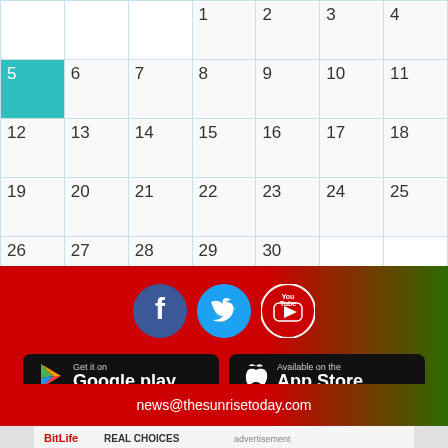|  |  |  |  |  |  |  |
| --- | --- | --- | --- | --- | --- | --- |
|  |  |  | 1 | 2 | 3 | 4 |
| 5 | 6 | 7 | 8 | 9 | 10 | 11 |
| 12 | 13 | 14 | 15 | 16 | 17 | 18 |
| 19 | 20 | 21 | 22 | 23 | 24 | 25 |
| 26 | 27 | 28 | 29 | 30 |  |  |
[Figure (infographic): Social media icons: Facebook, Twitter, YouTube. App store buttons: Google Play and Apple App Store.]
news@thesunrisetoday.com
[Figure (infographic): BitLife advertisement banner: Real Choices]